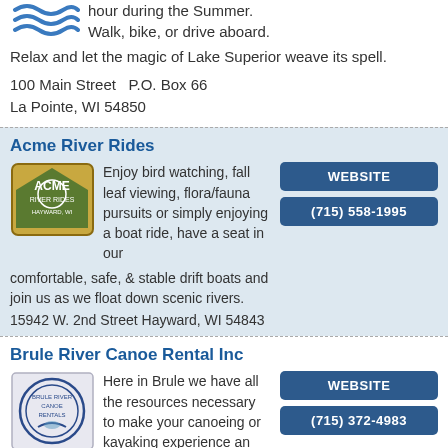hour during the Summer. Walk, bike, or drive aboard. Relax and let the magic of Lake Superior weave its spell.
100 Main Street  P.O. Box 66
La Pointe, WI 54850
Acme River Rides
Enjoy bird watching, fall leaf viewing, flora/fauna pursuits or simply enjoying a boat ride, have a seat in our comfortable, safe, & stable drift boats and join us as we float down scenic rivers.
15942 W. 2nd Street Hayward, WI 54843
Brule River Canoe Rental Inc
Here in Brule we have all the resources necessary to make your canoeing or kayaking experience an exciting and entertaining adventure.
13869 US Highway 2 Brule, WI 54820